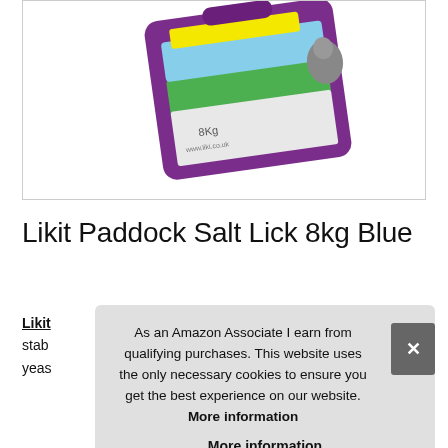[Figure (photo): Purple Likit Paddock Salt Lick 8kg Blue product container shown at an angle against white background]
Likit Paddock Salt Lick 8kg Blue
Likit stab yeas
As an Amazon Associate I earn from qualifying purchases. This website uses the only necessary cookies to ensure you get the best experience on our website. More information
More information